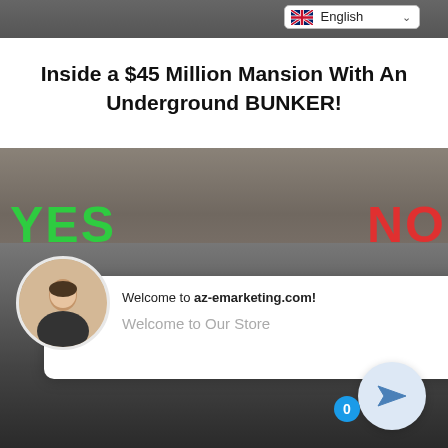[Figure (screenshot): Top portion of a webpage showing a dark image strip at top]
[Figure (other): Language selector dropdown showing English with UK flag]
Inside a $45 Million Mansion With An Underground BUNKER!
[Figure (screenshot): Image of two white sports cars in a parking lot with YES in green on the left and NO in red on the right. A chat popup overlay shows 'Welcome to az-emarketing.com!' and 'Welcome to Our Store' with a female customer service avatar, close button X, and a send/navigate button at bottom right with a notification badge showing 0.]